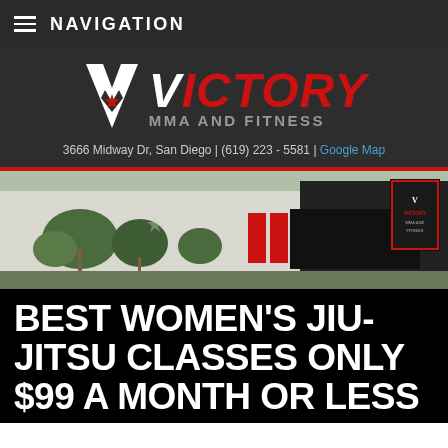NAVIGATION
[Figure (logo): Victory MMA and Fitness logo with white V mark and red VICTORY text]
3666 Midway Dr, San Diego | (619) 223 - 5581 | Google Map
[Figure (photo): Exterior photo of Victory MMA and Fitness building with palm trees and signage]
BEST WOMEN'S JIU-JITSU CLASSES ONLY $99 A MONTH OR LESS